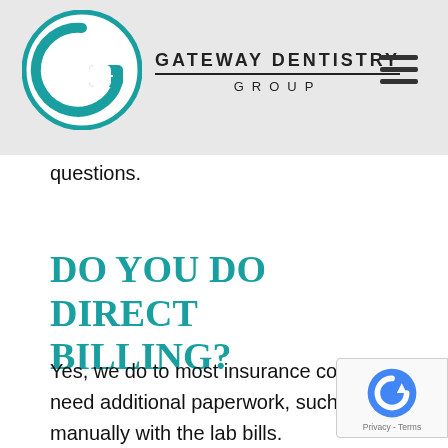[Figure (logo): Gateway Dentistry Group logo — circular teal G icon with company name and hamburger menu icon]
questions.
DO YOU DO DIRECT BILLING?
Yes, we do to most insurance companies who allow direct billing. However, with items that need additional paperwork, such as crowns, we have to submit your insurance claim manually with the lab bills.